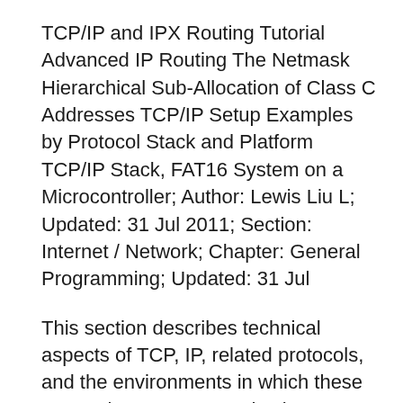TCP/IP and IPX Routing Tutorial Advanced IP Routing The Netmask Hierarchical Sub-Allocation of Class C Addresses TCP/IP Setup Examples by Protocol Stack and Platform TCP/IP Stack, FAT16 System on a Microcontroller; Author: Lewis Liu L; Updated: 31 Jul 2011; Section: Internet / Network; Chapter: General Programming; Updated: 31 Jul
This section describes technical aspects of TCP, IP, related protocols, and the environments in which these protocols operate. Introduction To Modbus TCP/IP TCP/IP Stack
TCP/IP Tutorial and Technical Overview 9.8.1 Dual IP stack implementation: TCP/IP